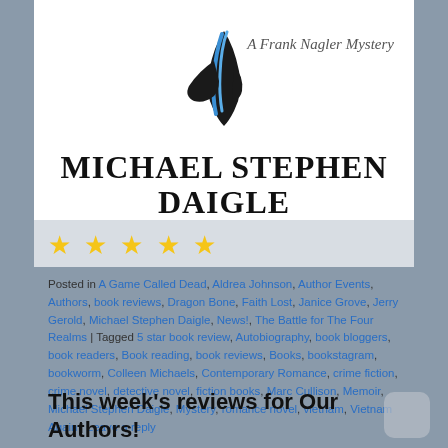[Figure (illustration): Book cover for Michael Stephen Daigle with decorative figure and 'A Frank Nagler Mystery' text in italic script, author name in large bold serif caps at bottom of white cover area]
[Figure (other): Five gold stars rating]
Posted in A Game Called Dead, Aldrea Johnson, Author Events, Authors, book reviews, Dragon Bone, Faith Lost, Janice Grove, Jerry Gerold, Michael Stephen Daigle, News!, The Battle for The Four Realms | Tagged 5 star book review, Autobiography, book bloggers, book readers, Book reading, book reviews, Books, bookstagram, bookworm, Colleen Michaels, Contemporary Romance, crime fiction, crime novel, detective novel, fiction books, Marc Cullison, Memoir, Michael Stephen Daigle, Mystery, romance novel, vietnam, Vietnam Again | Leave a reply
This week's reviews for Our Authors!